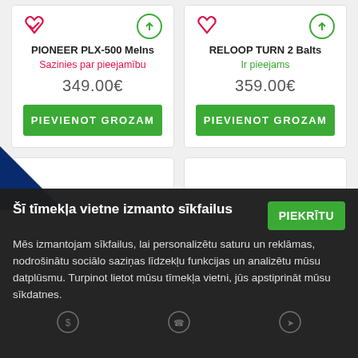PIONEER PLX-500 Melns
Sazinies par pieejamību
349.00€
PIEVIENOT GROZAM
RELOOP TURN 2 Balts
Ir pieejams
359.00€
PIEVIENOT GROZAM
Šī tīmekļa vietne izmanto sīkfailus
PIEKRĪTU
Mēs izmantojam sīkfailus, lai personalizētu saturu un reklāmas, nodrošinātu sociālo saziņas līdzekļu funkcijas un analizētu mūsu datplūsmu. Turpinot lietot mūsu tīmekļa vietni, jūs apstiprināt mūsu sīkdatnes.